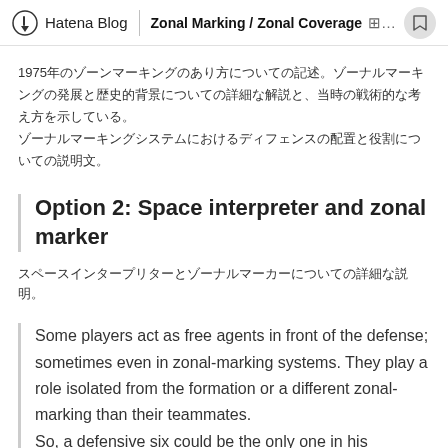Hatena Blog | Zonal Marking / Zonal Coverage
1975年代のゾーナルマーキングについての文章。ゾーナルマーキングの歴史と概念についての説明文。
Option 2: Space interpreter and zonal marker
スペースインタープリターとゾーナルマーカーについての説明。
Some players act as free agents in front of the defense; sometimes even in zonal-marking systems. They play a role isolated from the formation or a different zonal-marking than their teammates. So, a defensive six could be the only one in his